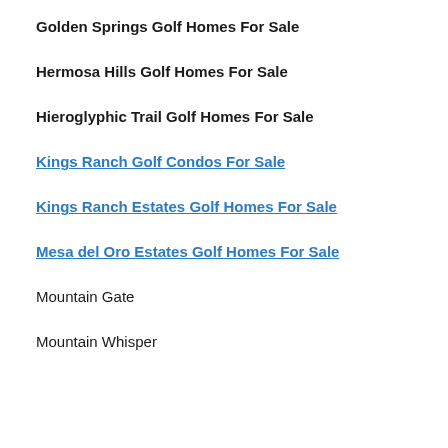Golden Springs Golf Homes For Sale
Hermosa Hills Golf Homes For Sale
Hieroglyphic Trail Golf Homes For Sale
Kings Ranch Golf Condos For Sale
Kings Ranch Estates Golf Homes For Sale
Mesa del Oro Estates Golf Homes For Sale
Mountain Gate
Mountain Whisper